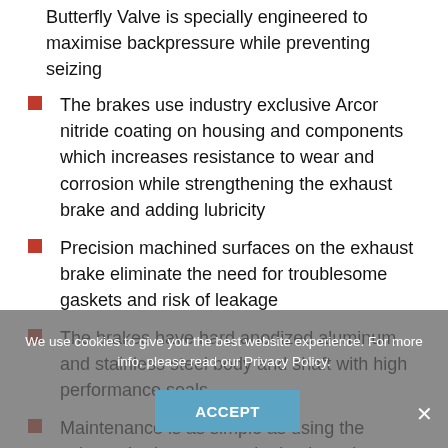Butterfly Valve is specially engineered to maximise backpressure while preventing seizing
The brakes use industry exclusive Arcor nitride coating on housing and components which increases resistance to wear and corrosion while strengthening the exhaust brake and adding lubricity
Precision machined surfaces on the exhaust brake eliminate the need for troublesome gaskets and risk of leakage
The brakes have hard anodized aluminum and stainless steel body and shaft with high performance seals
Maintenance is as simple as using the exhaust brake on a regular basis and periodically applying
We use cookies to give you the best website experience. For more info, please read our Privacy Policy.